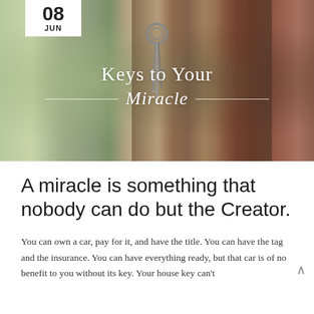[Figure (photo): Photo of keys hanging in a door lock, blurred green outdoor background on the left and wooden door frame on the right. A white date box in the upper left shows '08' and 'JUN'. Overlaid text reads 'Keys to Your Miracle' with decorative horizontal lines flanking the italic word 'Miracle'.]
A miracle is something that nobody can do but the Creator.
You can own a car, pay for it, and have the title. You can have the tag and the insurance. You can have everything ready, but that car is of no benefit to you without its key. Your house key can't